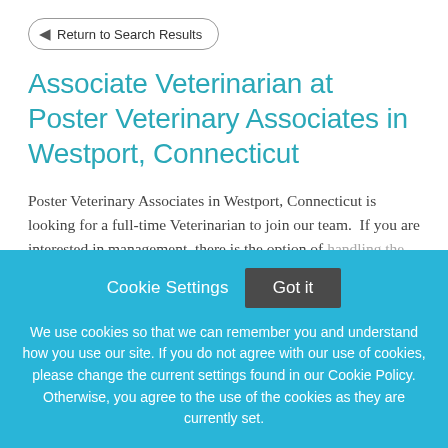Return to Search Results
Associate Veterinarian at Poster Veterinary Associates in Westport, Connecticut
Poster Veterinary Associates in Westport, Connecticut is looking for a full-time Veterinarian to join our team.  If you are interested in management, there is the option of handling the Medical Director role too! Typically the
Cookie Settings   Got it
We use cookies so that we can remember you and understand how you use our site. If you do not agree with our use of cookies, please change the current settings found in our Cookie Policy. Otherwise, you agree to the use of the cookies as they are currently set.